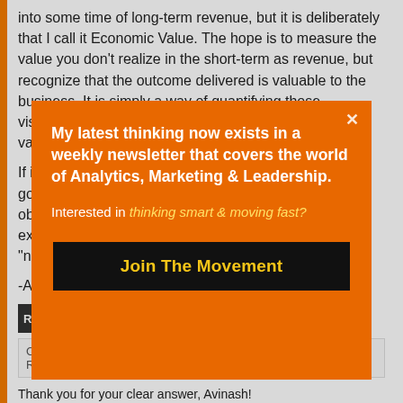into some time of long-term revenue, but it is deliberately that I call it Economic Value. The hope is to measure the value you don't realize in the short-term as revenue, but recognize that the outcome delivered is valuable to the business. It is simply a way of quantifying those visits/visitors and separating them for those that add no value at all.
If it helps, you report some variation of Revenue to the go... obl... exc... "no...
-Av...
RE
C... R...
Thank you for your clear answer, Avinash!
[Figure (other): Orange modal popup overlay with white text reading 'My latest thinking now exists in a weekly newsletter that covers the world of Analytics, Marketing & Leadership.' followed by 'Interested in thinking smart & moving fast?' and a black button labeled 'Join The Movement'. A close (x) button appears in the top right corner of the modal.]